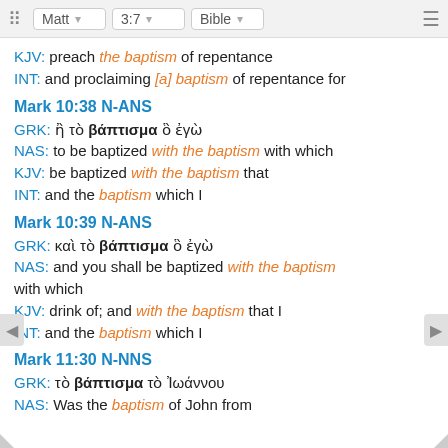Matt 3:7 Bible
KJV: preach the baptism of repentance
INT: and proclaiming [a] baptism of repentance for
Mark 10:38 N-ANS
GRK: ἢ τὸ βάπτισμα ὃ ἐγὼ
NAS: to be baptized with the baptism with which
KJV: be baptized with the baptism that
INT: and the baptism which I
Mark 10:39 N-ANS
GRK: καὶ τὸ βάπτισμα ὃ ἐγὼ
NAS: and you shall be baptized with the baptism with which
KJV: drink of; and with the baptism that I
INT: and the baptism which I
Mark 11:30 N-NNS
GRK: τὸ βάπτισμα τὸ Ἰωάννου
NAS: Was the baptism of John from